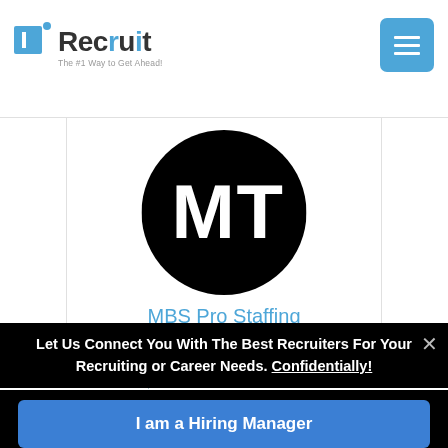Recruit — The #1 Way to Get Ahead!
[Figure (logo): MBS Pro Staffing company logo: black circle with white M and T letters]
MBS Pro Staffing
Placing technical candidates in the greater Cincinnati area. Job bank on website....
Ohio, Cincinnati, Ohio
Let Us Connect You With The Best Recruiters For Your Recruiting or Career Needs. Confidentially!
I am a Hiring Manager
I am a Job Seeker